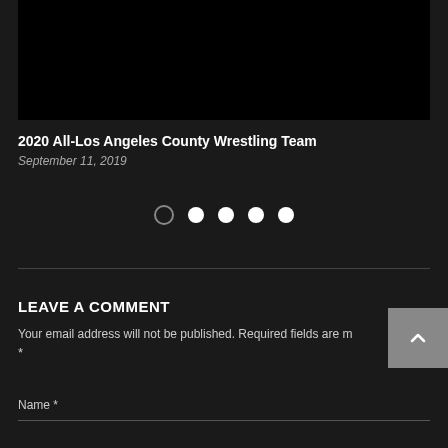[Figure (photo): Black rectangle representing a video thumbnail or image placeholder at the top of the page]
2020 All-Los Angeles County Wrestling Team
September 11, 2019
[Figure (infographic): Carousel navigation dots: 5 dots total, first dot is outlined/inactive (current), remaining 4 are filled white]
LEAVE A COMMENT
Your email address will not be published. Required fields are marked *
Name *